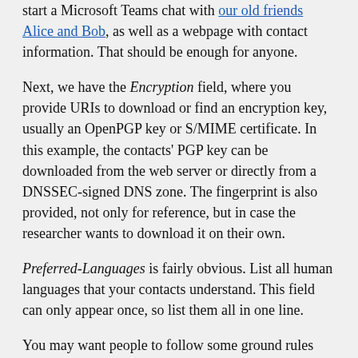start a Microsoft Teams chat with our old friends Alice and Bob, as well as a webpage with contact information. That should be enough for anyone.
Next, we have the Encryption field, where you provide URIs to download or find an encryption key, usually an OpenPGP key or S/MIME certificate. In this example, the contacts' PGP key can be downloaded from the web server or directly from a DNSSEC-signed DNS zone. The fingerprint is also provided, not only for reference, but in case the researcher wants to download it on their own.
Preferred-Languages is fairly obvious. List all human languages that your contacts understand. This field can only appear once, so list them all in one line.
You may want people to follow some ground rules when searching for or reporting bugs. If you have a security policy, use the Policy field to link people to it.
Just for Kicks